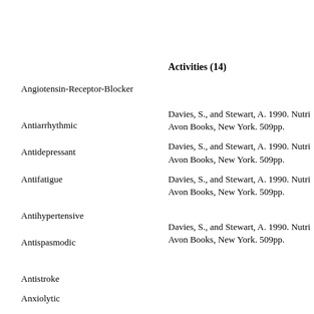Activities (14)
Angiotensin-Receptor-Blocker
Antiarrhythmic
Davies, S., and Stewart, A. 1990. Nutri Avon Books, New York. 509pp.
Antidepressant
Davies, S., and Stewart, A. 1990. Nutri Avon Books, New York. 509pp.
Antifatigue
Davies, S., and Stewart, A. 1990. Nutri Avon Books, New York. 509pp.
Antihypertensive
Antispasmodic
Davies, S., and Stewart, A. 1990. Nutri Avon Books, New York. 509pp.
Antistroke
Anxiolytic
Beta-Blocker
Cardioprotective 3,000-5,000 mg
Cardiotoxic 18,000